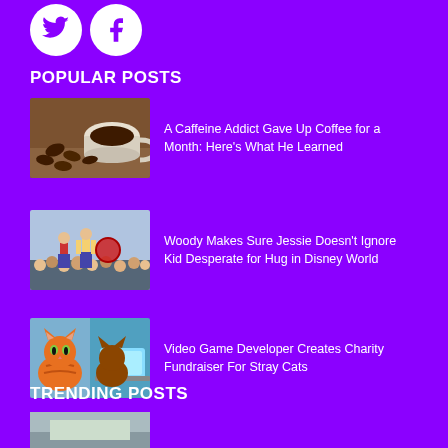[Figure (other): Twitter and Facebook social media icon circles (white circles with purple icons)]
POPULAR POSTS
[Figure (photo): Coffee cup with coffee beans on wooden surface]
A Caffeine Addict Gave Up Coffee for a Month: Here's What He Learned
[Figure (photo): Woody and Jessie Disney World parade crowd scene]
Woody Makes Sure Jessie Doesn't Ignore Kid Desperate for Hug in Disney World
[Figure (photo): Two cats, an orange cat and a brown cat near a laptop]
Video Game Developer Creates Charity Fundraiser For Stray Cats
TRENDING POSTS
[Figure (photo): Partially visible thumbnail image at bottom of page]